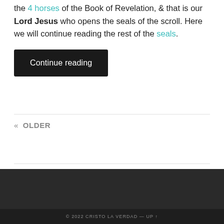the 4 horses of the Book of Revelation, & that is our Lord Jesus who opens the seals of the scroll. Here we will continue reading the rest of the seals.
Continue reading
« OLDER
© 2022 CRISTO LA VERDAD — UP ↑